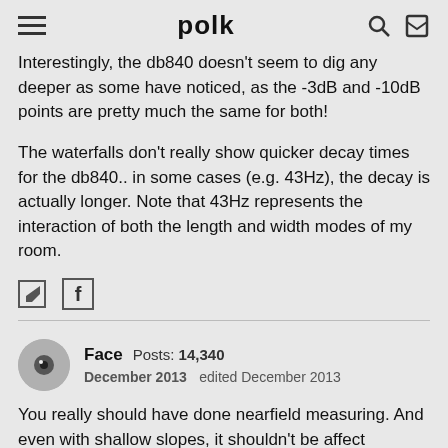polk
Interestingly, the db840 doesn't seem to dig any deeper as some have noticed, as the -3dB and -10dB points are pretty much the same for both!
The waterfalls don't really show quicker decay times for the db840.. in some cases (e.g. 43Hz), the decay is actually longer. Note that 43Hz represents the interaction of both the length and width modes of my room.
Face  Posts: 14,340
December 2013  edited December 2013
You really should have done nearfield measuring. And even with shallow slopes, it shouldn't be affect response up to 1K.